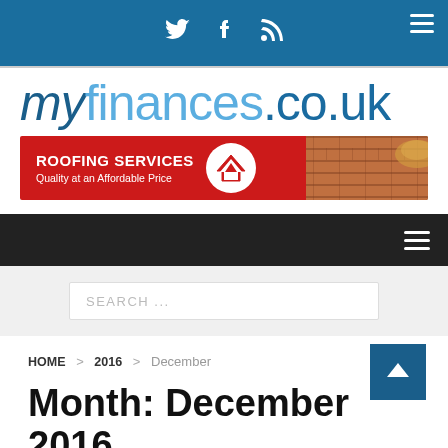myfinances.co.uk — social bar with Twitter, Facebook, RSS icons
[Figure (logo): myfinances.co.uk website logo in blue italic/regular text]
[Figure (illustration): Roofing Services advertisement banner — red and blue with roof tile photo, text: ROOFING SERVICES Quality at an Affordable Price]
Navigation bar with hamburger menu icon
SEARCH ...
HOME > 2016 > December
Month: December 2016